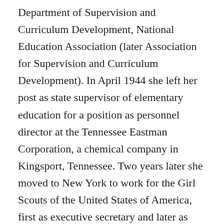Department of Supervision and Curriculum Development, National Education Association (later Association for Supervision and Curriculum Development). In April 1944 she left her post as state supervisor of elementary education for a position as personnel director at the Tennessee Eastman Corporation, a chemical company in Kingsport, Tennessee. Two years later she moved to New York to work for the Girl Scouts of the United States of America, first as executive secretary and later as director of its international division. Charged with developing closer relationships with other international groups, she served as the liaison between the organization and the World Association of Girl Guides and Girl Scouts. When flying home in September 1946 from scouting meetings in Europe, the airplane she was on crashed in Newfoundland, Canada. She was one of